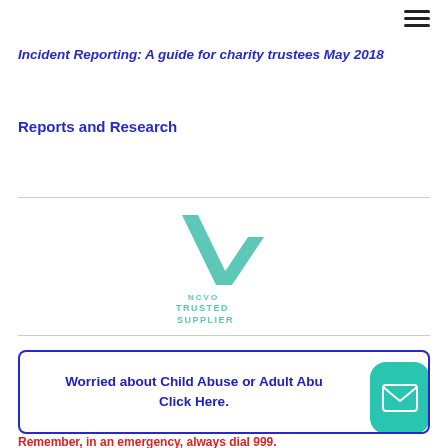≡
Incident Reporting: A guide for charity trustees May 2018
Reports and Research
[Figure (logo): NCVO Trusted Supplier 2022 logo — a teal/green checkmark with '2022' written vertically on the left stroke, and 'NCVO TRUSTED SUPPLIER' text below]
Worried about Child Abuse or Adult Abuse? Click Here.
Remember, in an emergency, always dial 999.